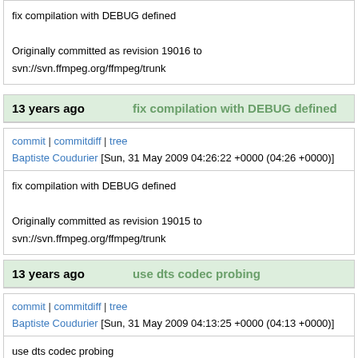fix compilation with DEBUG defined

Originally committed as revision 19016 to svn://svn.ffmpeg.org/ffmpeg/trunk
13 years ago    fix compilation with DEBUG defined
commit | commitdiff | tree
Baptiste Coudurier [Sun, 31 May 2009 04:26:22 +0000 (04:26 +0000)]
fix compilation with DEBUG defined

Originally committed as revision 19015 to svn://svn.ffmpeg.org/ffmpeg/trunk
13 years ago    use dts codec probing
commit | commitdiff | tree
Baptiste Coudurier [Sun, 31 May 2009 04:13:25 +0000 (04:13 +0000)]
use dts codec probing

Originally committed as revision 19014 to svn://svn.ffmpeg.org/ffmpeg/trunk